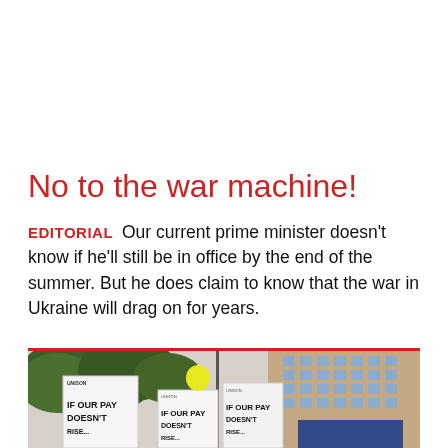No to the war machine!
EDITORIAL Our current prime minister doesn't know if he'll still be in office by the end of the summer. But he does claim to know that the war in Ukraine will drag on for years.
[Figure (photo): Protest photograph showing demonstrators holding UNISON union banners reading 'IF OUR PAY DOESN'T RISE...' with trees and a large brick building in the background, and a yellow balloon visible among the banners. A blue tarpaulin is visible on the right.]